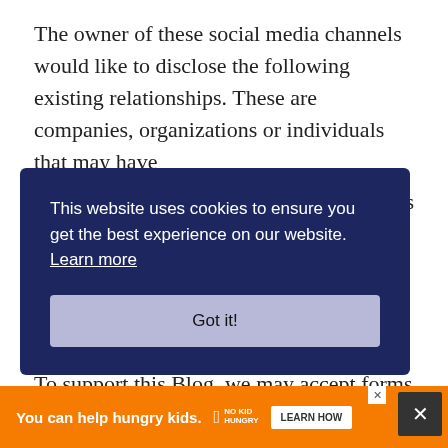The owner of these social media channels would like to disclose the following existing relationships. These are companies, organizations or individuals that may have …his
[Figure (screenshot): Cookie consent banner with dark navy background. Text reads: 'This website uses cookies to ensure you get the best experience on our website. Learn more' with a 'Got it!' button below.]
To support this Blog, we may accept forms
[Figure (screenshot): Orange advertisement banner at the bottom of the page. Text: 'You can help hungry kids.' with No Kid Hungry logo and 'LEARN HOW' button. Close X buttons visible.]